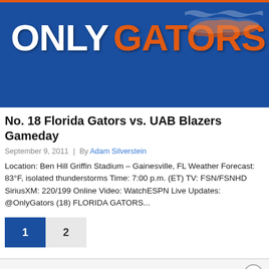[Figure (logo): Only Gators logo on blue background with orange top border and gator silhouette]
No. 18 Florida Gators vs. UAB Blazers Gameday
September 9, 2011 | By Adam Silverstein
Location: Ben Hill Griffin Stadium – Gainesville, FL Weather Forecast: 83°F, isolated thunderstorms Time: 7:00 p.m. (ET) TV: FSN/FSNHD SiriusXM: 220/199 Online Video: WatchESPN Live Updates: @OnlyGators (18) FLORIDA GATORS...
1  2